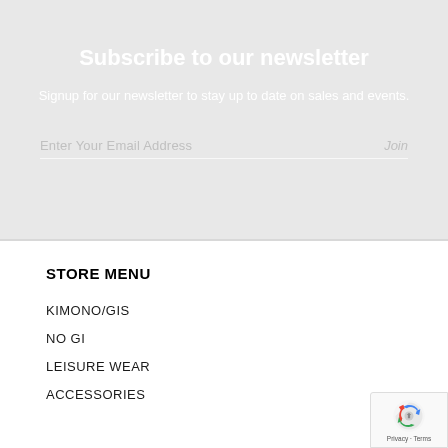Subscribe to our newsletter
Signup for our newsletter to stay up to date on sales and events.
Enter Your Email Address    Join
STORE MENU
KIMONO/GIS
NO GI
LEISURE WEAR
ACCESSORIES